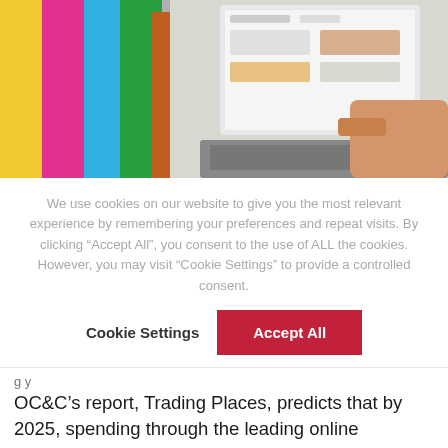[Figure (photo): Photo of colorful shopping bags on the left and a person using a laptop with a shoe shopping website on the right]
We use cookies on our website to give you the most relevant experience by remembering your preferences and repeat visits. By clicking “Accept All”, you consent to the use of ALL the cookies. However, you may visit “Cookie Settings” to provide a controlled consent.
Cookie Settings | Accept All
OC&C’s report, Trading Places, predicts that by 2025, spending through the leading online marketplaces will overtake the vast majority of ecommerce outlets in established retail and travel